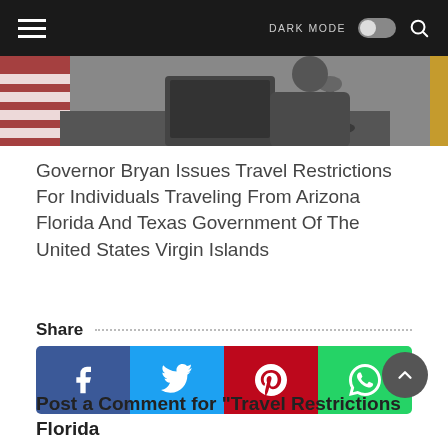DARK MODE [toggle] [search]
[Figure (photo): Cropped photo of a person seated at a table with a microphone and laptop, with flags in the background]
Governor Bryan Issues Travel Restrictions For Individuals Traveling From Arizona Florida And Texas Government Of The United States Virgin Islands
Share
[Figure (infographic): Social media share buttons: Facebook (dark blue), Twitter (light blue), Pinterest (red), WhatsApp (green)]
Post a Comment for "Travel Restrictions Florida